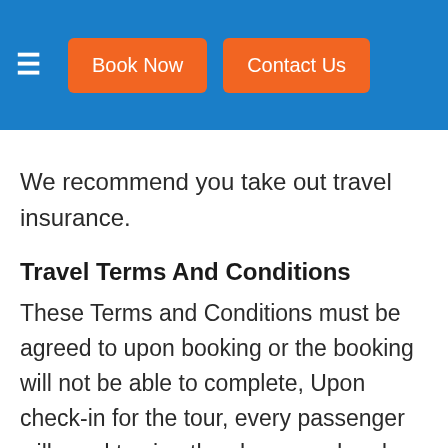≡  Book Now  Contact Us
We recommend you take out travel insurance.
Travel Terms And Conditions
These Terms and Conditions must be agreed to upon booking or the booking will not be able to complete, Upon check-in for the tour, every passenger will need to sign they have read and agreed to these Terms and Conditions.
Upon Check-in for your tour departure, every